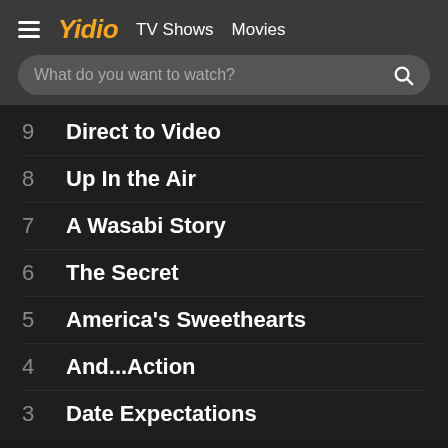≡ Yidio  TV Shows  Movies
What do you want to watch?
9  Direct to Video
8  Up In the Air
7  A Wasabi Story
6  The Secret
5  America's Sweethearts
4  And...Action
3  Date Expectations